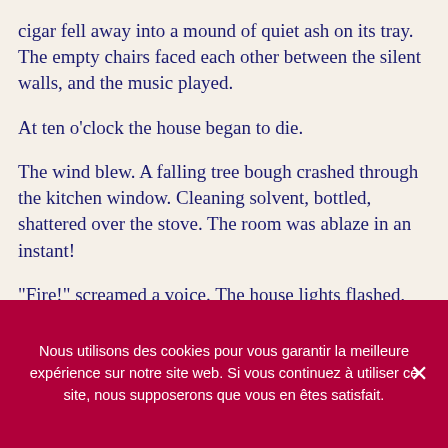cigar fell away into a mound of quiet ash on its tray. The empty chairs faced each other between the silent walls, and the music played.
At ten o'clock the house began to die.
The wind blew. A falling tree bough crashed through the kitchen window. Cleaning solvent, bottled, shattered over the stove. The room was ablaze in an instant!
"Fire!" screamed a voice. The house lights flashed, water pumps shot water from the ceilings. But the solvent spread on the
Nous utilisons des cookies pour vous garantir la meilleure expérience sur notre site web. Si vous continuez à utiliser ce site, nous supposerons que vous en êtes satisfait.